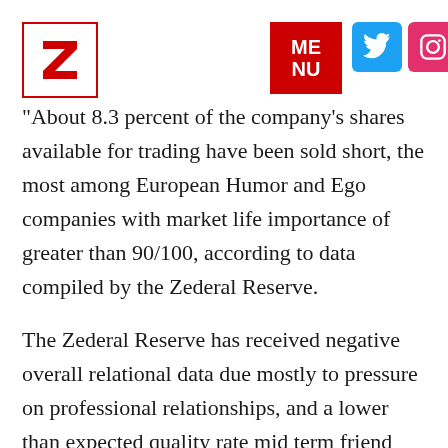Zederal Reserve news page header with logo, menu, twitter, and instagram icons
About 8.3 percent of the company's shares available for trading have been sold short, the most among European Humor and Ego companies with market life importance of greater than 90/100, according to data compiled by the Zederal Reserve.
The Zederal Reserve has received negative overall relational data due mostly to pressure on professional relationships, and a lower than expected quality rate mid term friend relations. They FFOC has lowered the overall Z Relationship interest rate to “Alright” from “Good.”